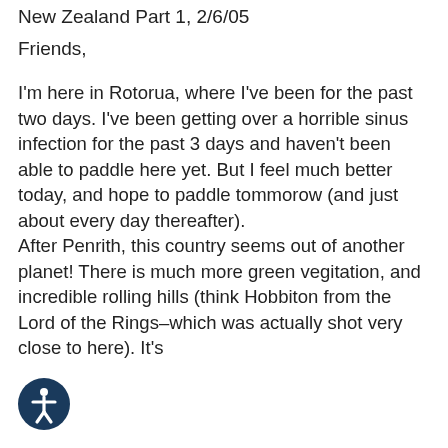New Zealand Part 1, 2/6/05
Friends,
I'm here in Rotorua, where I've been for the past two days. I've been getting over a horrible sinus infection for the past 3 days and haven't been able to paddle here yet. But I feel much better today, and hope to paddle tommorow (and just about every day thereafter).
After Penrith, this country seems out of another planet! There is much more green vegitation, and incredible rolling hills (think Hobbiton from the Lord of the Rings–which was actually shot very close to here). It's